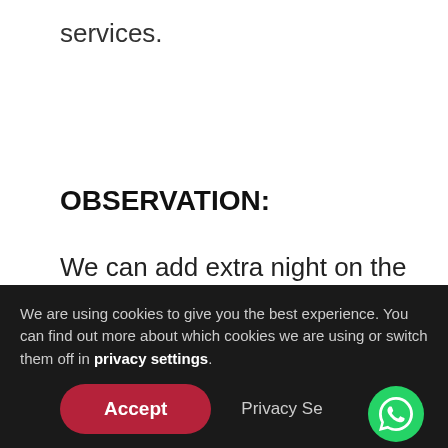services.
OBSERVATION:
We can add extra night on the last day of the trip, however you will miss the Ferry and transfer to the Tour start point. This option is ideal for customers arriving by
We are using cookies to give you the best experience. You can find out more about which cookies we are using or switch them off in privacy settings.
Accept
Privacy Se